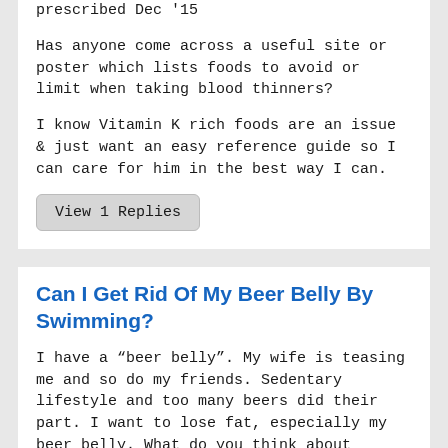prescribed Dec '15
Has anyone come across a useful site or poster which lists foods to avoid or limit when taking blood thinners?
I know Vitamin K rich foods are an issue & just want an easy reference guide so I can care for him in the best way I can.
View 1 Replies
Can I Get Rid Of My Beer Belly By Swimming?
I have a "beer belly". My wife is teasing me and so do my friends. Sedentary lifestyle and too many beers did their part. I want to lose fat, especially my beer belly. What do you think about shaping stomach by swimming? Can I lose my belly by swimming? I don't want to get smaller anywhere